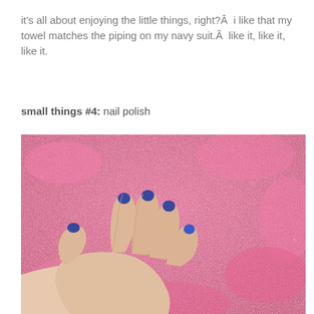it's all about enjoying the little things, right?Â  i like that my towel matches the piping on my navy suit.Â  like it, like it, like it.
small things #4: nail polish
[Figure (photo): A hand with navy/dark blue nail polish resting on a pink fluffy towel. All five fingers visible with dark blue painted nails.]